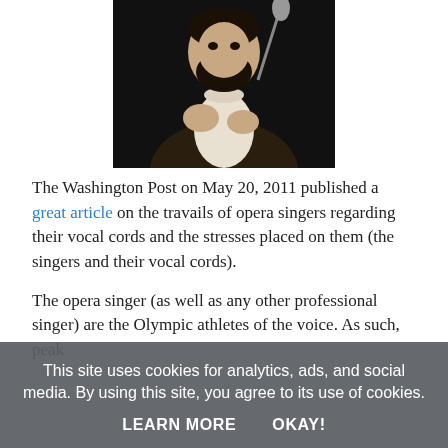[Figure (photo): A male opera singer in a dark suit with white formal shirt and bow tie, performing at a microphone. He has a beard and is gesturing with his hands near his chest. The background is dark/black.]
The Washington Post on May 20, 2011 published a great article on the travails of opera singers regarding their vocal cords and the stresses placed on them (the singers and their vocal cords).
The opera singer (as well as any other professional singer) are the Olympic athletes of the voice. As such, peak
This site uses cookies for analytics, ads, and social media. By using this site, you agree to its use of cookies.
LEARN MORE    OKAY!